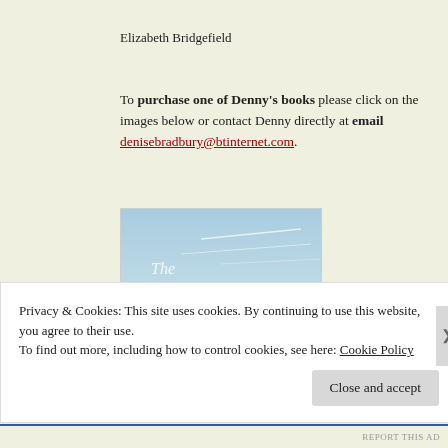Elizabeth Bridgefield
To purchase one of Denny's books please click on the images below or contact Denny directly at email denisebradbury@btinternet.com.
[Figure (photo): Book cover image for 'The Reunion' showing a coastal/seaside scene with the title in cursive script overlay]
Privacy & Cookies: This site uses cookies. By continuing to use this website, you agree to their use.
To find out more, including how to control cookies, see here: Cookie Policy
Close and accept